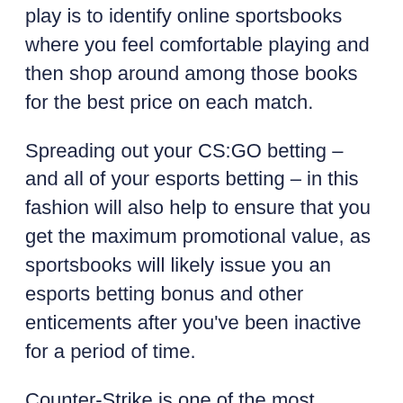play is to identify online sportsbooks where you feel comfortable playing and then shop around among those books for the best price on each match.
Spreading out your CS:GO betting – and all of your esports betting – in this fashion will also help to ensure that you get the maximum promotional value, as sportsbooks will likely issue you an esports betting bonus and other enticements after you've been inactive for a period of time.
Counter-Strike is one of the most popular esports, and that popularity translates into broad coverage across online betting sites for CS:GO. For any given CS:GO Major event, you're likely to be able to shop for odds at the vast majority of both traditional sportsbooks and